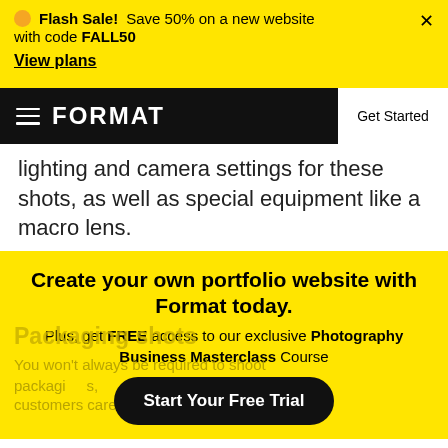Flash Sale! Save 50% on a new website with code FALL50
View plans
FORMAT | Get Started
lighting and camera settings for these shots, as well as special equipment like a macro lens.
Create your own portfolio website with Format today. Plus, get FREE access to our exclusive Photography Business Masterclass Course
Packaging shots
You won't always be required to shoot packaging
Start Your Free Trial